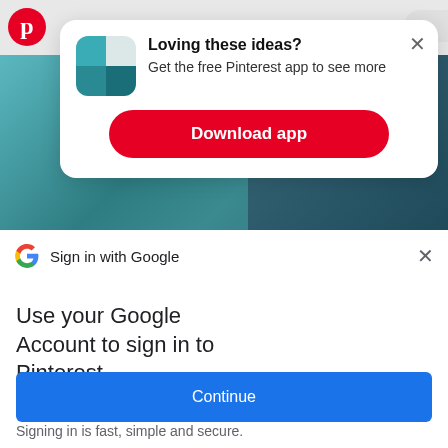[Figure (screenshot): Pinterest app banner with teal/blue room images in background]
[Figure (infographic): Pinterest app download popup modal with teal app icon showing 'Loving these ideas? Get the free Pinterest app to see more' and a red 'Download app' button with an X close button]
Sign in with Google
Use your Google Account to sign in to Pinterest
No more passwords to remember. Signing in is fast, simple and secure.
[Figure (illustration): Google sign-in illustration with golden key and colorful circles]
Continue